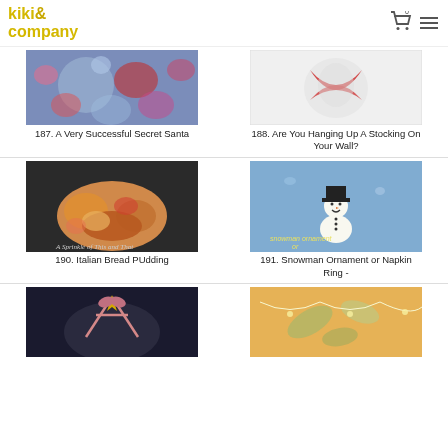kiki& company
[Figure (photo): Floral fabric pattern - colorful blue, red, pink flowers]
187. A Very Successful Secret Santa
[Figure (photo): Red and white candy cane or stocking ornament on white background]
188. Are You Hanging Up A Stocking On Your Wall?
[Figure (photo): Italian bread pudding dish with tomatoes and cheese, from A Sprinkle of This and That]
190. Italian Bread PUdding
[Figure (photo): Snowman ornament or napkin ring on blue sparkly fabric with top hat]
191. Snowman Ornament or Napkin Ring -
[Figure (photo): Dark round tray with pink ribbon bow and gold star decoration]
[Figure (photo): Warm toned background with leaf and string light decorations]